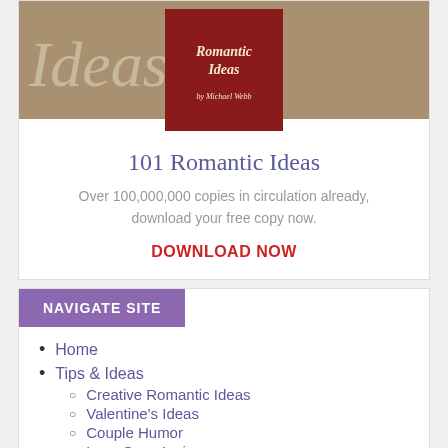[Figure (illustration): Book cover for '101 Romantic Ideas' by Michael Webb, shown against a tan/brown background with italic 'Ideas' text. The book cover is red with white italic text.]
101 Romantic Ideas
Over 100,000,000 copies in circulation already, download your free copy now.
DOWNLOAD NOW
NAVIGATE SITE
Home
Tips & Ideas
Creative Romantic Ideas
Valentine's Ideas
Couple Humor
Love Song Lyrics
Love Quotes
Kissing Tips
Love Letters